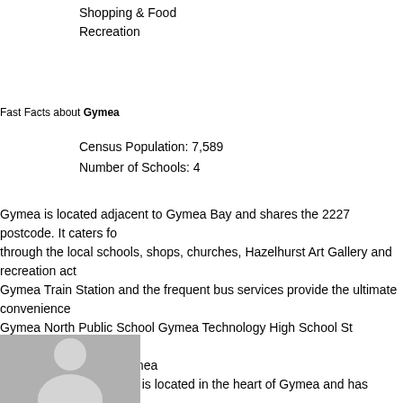Shopping & Food
Recreation
Fast Facts about Gymea
Census Population: 7,589
Number of Schools: 4
Gymea is located adjacent to Gymea Bay and shares the 2227 postcode. It caters for through the local schools, shops, churches, Hazelhurst Art Gallery and recreation act Gymea Train Station and the frequent bus services provide the ultimate convenience Gymea North Public School Gymea Technology High School St Catherine Laboure C School TAFE NSW - Gymea
Gymea Shopping Village is located in the heart of Gymea and has everything you ne stores, beauty salons, cafes and restaurants.
Gymea is provides perfect recreation for all ages. Gymea Miranda Bowling & Sports to indulge in lawn bowls and the local fields and ovals are ideal for soccer and runnin
[Figure (photo): Placeholder avatar/person silhouette image in grey]